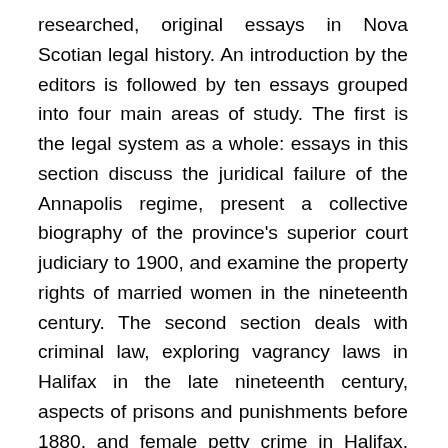researched, original essays in Nova Scotian legal history. An introduction by the editors is followed by ten essays grouped into four main areas of study. The first is the legal system as a whole: essays in this section discuss the juridical failure of the Annapolis regime, present a collective biography of the province's superior court judiciary to 1900, and examine the property rights of married women in the nineteenth century. The second section deals with criminal law, exploring vagrancy laws in Halifax in the late nineteenth century, aspects of prisons and punishments before 1880, and female petty crime in Halifax. The third section, on family law, examines the issues of divorce from 1750 to 1890 and child custody from 1866 to 1910. Finally, two essays relate to law and the economy: one examines the Mines Arbitration Act of 1888; the other considers the